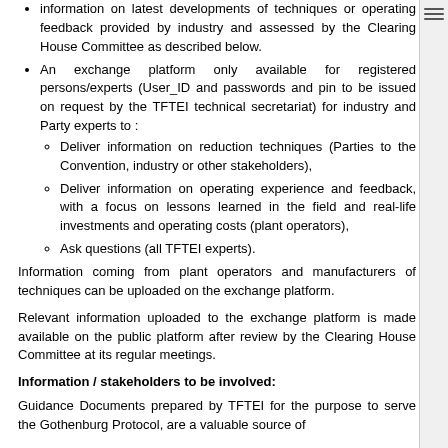information on latest developments of techniques or operating feedback provided by industry and assessed by the Clearing House Committee as described below.
An exchange platform only available for registered persons/experts (User_ID and passwords and pin to be issued on request by the TFTEI technical secretariat) for industry and Party experts to : Deliver information on reduction techniques (Parties to the Convention, industry or other stakeholders), Deliver information on operating experience and feedback, with a focus on lessons learned in the field and real-life investments and operating costs (plant operators), Ask questions (all TFTEI experts).
Information coming from plant operators and manufacturers of techniques can be uploaded on the exchange platform.
Relevant information uploaded to the exchange platform is made available on the public platform after review by the Clearing House Committee at its regular meetings.
Information / stakeholders to be involved:
Guidance Documents prepared by TFTEI for the purpose to serve the Gothenburg Protocol, are a valuable source of